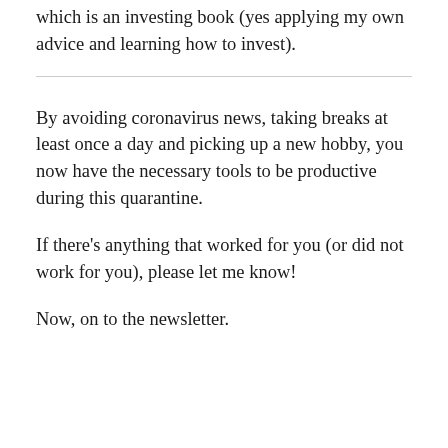which is an investing book (yes applying my own advice and learning how to invest).
By avoiding coronavirus news, taking breaks at least once a day and picking up a new hobby, you now have the necessary tools to be productive during this quarantine.
If there's anything that worked for you (or did not work for you), please let me know!
Now, on to the newsletter.